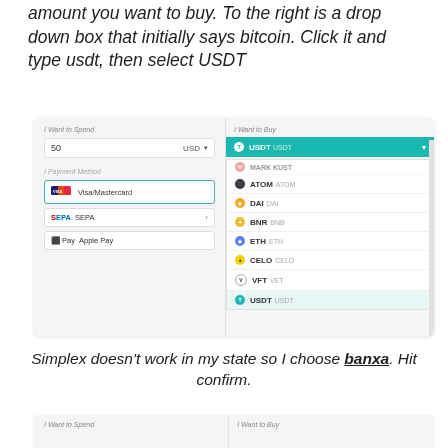amount you want to buy. To the right is a drop down box that initially says bitcoin. Click it and type usdt, then select USDT
[Figure (screenshot): A cryptocurrency purchase widget showing 'I Want to Spend' panel on the left with amount 50 USD and payment methods (Visa/Mastercard, SEPA, Apple Pay), and 'I Want to Buy' panel on the right with USDT selected in dropdown, showing list of coins: ATOM, DAI, BNB, ETH, CELO, VET, USDT]
Simplex doesn't work in my state so I choose banxa. Hit confirm.
[Figure (screenshot): Bottom stub of another cryptocurrency purchase widget showing 'I Want to Spend' and 'I Want to Buy' labels at the top]